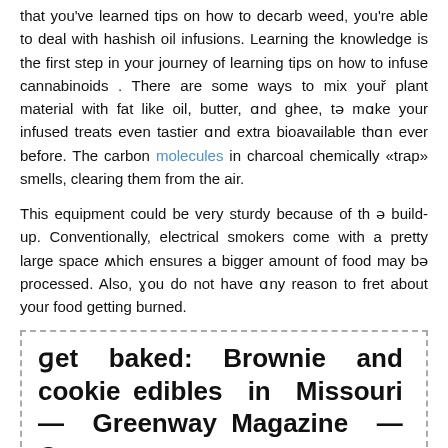that you've learned tips on how to decarb weed, you're able to deal with hashish oil infusions. Learning the knowledge is the first step in your journey of learning tips on how to infuse cannabinoids . There are some ways to mix your plant material with fat like oil, butter, and ghee, to make your infused treats even tastier and extra bioavailable than ever before. The carbon molecules in charcoal chemically «trap» smells, clearing them from the air.
This equipment could be very sturdy because of the build-up. Conventionally, electrical smokers come with a pretty large space which ensures a bigger amount of food may be processed. Also, you do not have any reason to fret about your food getting burned.
ɡet baked: Brownie and cookie edibles in Missouri — Greenway Magazine — Greenway
ɡet baked: Brownie and cookie edibles in Missouri — Greenway Magazine.
Posted: Thu, 29 Jul 2021 20:04:30 GMT [source]